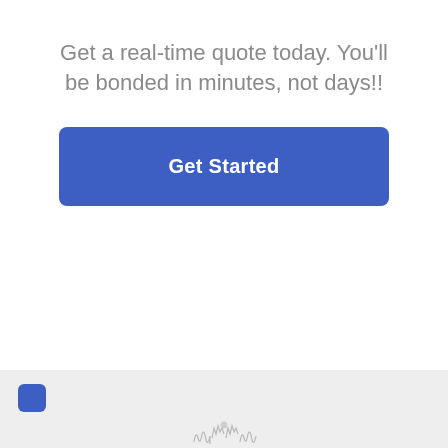Get a real-time quote today. You'll be bonded in minutes, not days!!
[Figure (other): Blue 'Get Started' call-to-action button]
Footer area with blue chat icon and decorative logo